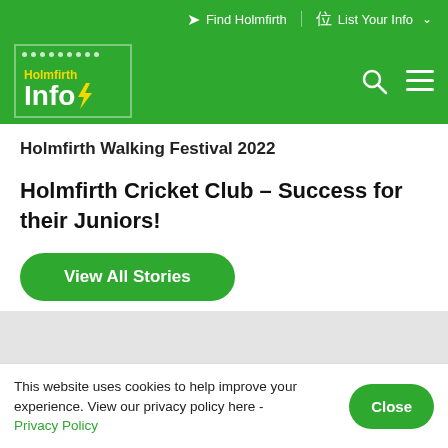Find Holmfirth  |  List Your Info
[Figure (logo): Holmfirth Info logo with yellow 'Holmfirth' text and white 'Info' text with lightning bolt on green background, dotted border top-left]
Holmfirth Walking Festival 2022
Holmfirth Cricket Club – Success for their Juniors!
View All Stories
This website uses cookies to help improve your experience. View our privacy policy here - Privacy Policy
Close